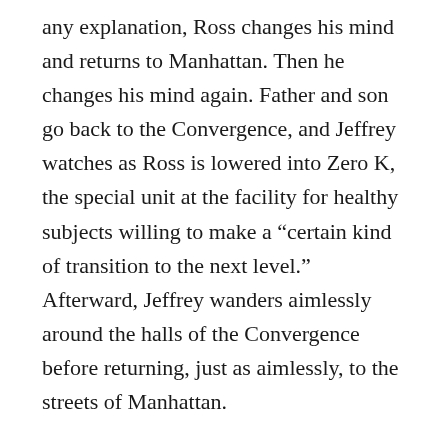any explanation, Ross changes his mind and returns to Manhattan. Then he changes his mind again. Father and son go back to the Convergence, and Jeffrey watches as Ross is lowered into Zero K, the special unit at the facility for healthy subjects willing to make a “certain kind of transition to the next level.” Afterward, Jeffrey wanders aimlessly around the halls of the Convergence before returning, just as aimlessly, to the streets of Manhattan.
There is one other relationship in the book besides the one between Ross and Jeffrey. When he returns to Manhattan the first time